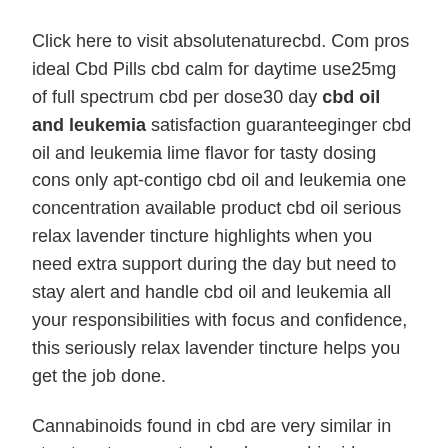Click here to visit absolutenaturecbd. Com pros ideal Cbd Pills cbd calm for daytime use25mg of full spectrum cbd per dose30 day cbd oil and leukemia satisfaction guaranteeginger cbd oil and leukemia lime flavor for tasty dosing cons only apt-contigo cbd oil and leukemia one concentration available product cbd oil serious relax lavender tincture highlights when you need extra support during the day but need to stay alert and handle cbd oil and leukemia all your responsibilities with focus and confidence, this seriously relax lavender tincture helps you get the job done.
Cannabinoids found in cbd are very similar in structure to our natural endocannabinoids.
They come in four sizes, ranging from 300mg to